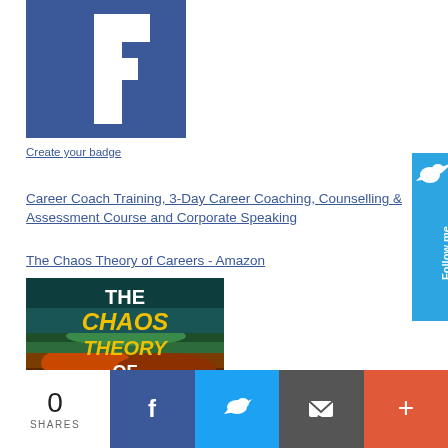[Figure (logo): Facebook logo badge — blue background with white cross/F icon]
Create your badge
[Figure (screenshot): Follow me Twitter button tab on right side, blue background with bird icon and vertical text 'Follow me']
Career Coach Training, 3-Day Career Coaching, Counselling & Assessment Course and Corporate Speaking
The Chaos Theory of Careers - Amazon
[Figure (photo): Book cover of 'THE CHAOS THEORY OF CAREERS' with large bold text on a dark background with colorful fractal/landscape imagery. Title in white and yellow text.]
[Figure (screenshot): Social share bar at bottom: '0 SHARES' count, Facebook share button (blue), Twitter share button (light blue), Email/mail button (gray), More button (red/orange) with plus icon]